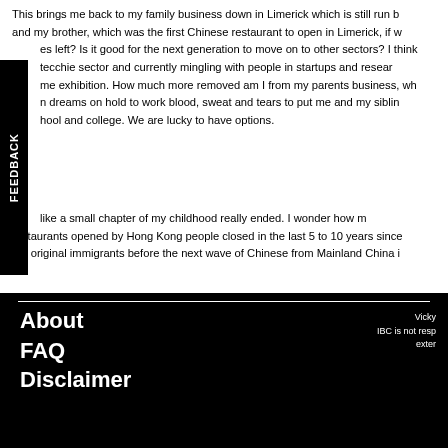This brings me back to my family business down in Limerick which is still run b and my brother, which was the first Chinese restaurant to open in Limerick, if w es left? Is it good for the next generation to move on to other sectors? I think e tecchie sector and currently mingling with people in startups and resear me exhibition. How much more removed am I from my parents business, wh n dreams on hold to work blood, sweat and tears to put me and my siblin hool and college. We are lucky to have options.
like a small chapter of my childhood really ended. I wonder how m restaurants opened by Hong Kong people closed in the last 5 to 10 years since the original immigrants before the next wave of Chinese from Mainland China i
About FAQ Disclaimer
Vicky IBC is not resp exter